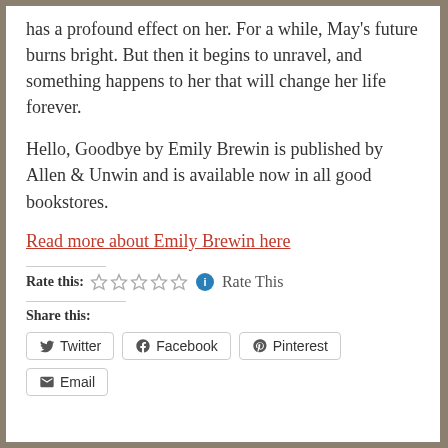has a profound effect on her. For a while, May's future burns bright. But then it begins to unravel, and something happens to her that will change her life forever.
Hello, Goodbye by Emily Brewin is published by Allen & Unwin and is available now in all good bookstores.
Read more about Emily Brewin here
Rate this: ☆☆☆☆☆ Rate This
Share this:
Twitter  Facebook  Pinterest  Email